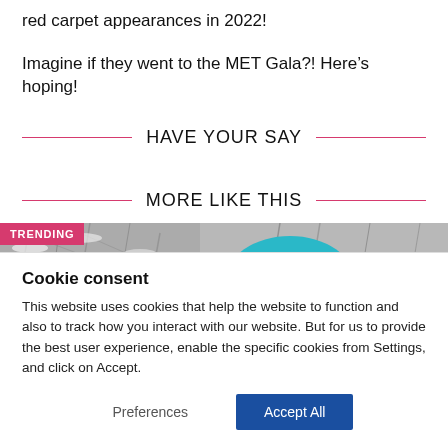red carpet appearances in 2022!
Imagine if they went to the MET Gala?! Here’s hoping!
HAVE YOUR SAY
MORE LIKE THIS
[Figure (photo): Trending image with snowy trees and person wearing a teal hat with a floral detail]
Cookie consent
This website uses cookies that help the website to function and also to track how you interact with our website. But for us to provide the best user experience, enable the specific cookies from Settings, and click on Accept.
Preferences
Accept All